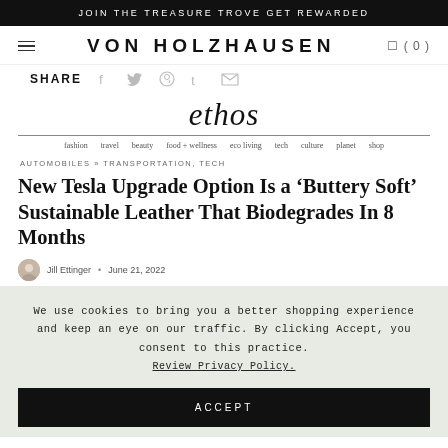JOIN THE TREASURE TROVE GET REWARDED
VON HOLZHAUSEN
SHARE
ethos
fashion  travel  beauty  food + wellness  eco living  tech  culture  planet  shop
AUTOMOBILES » TRANSPORTATION, TECH
New Tesla Upgrade Option Is a ‘Buttery Soft’ Sustainable Leather That Biodegrades In 8 Months
Jill Ettinger • June 21, 2022
We use cookies to bring you a better shopping experience and keep an eye on our traffic. By clicking Accept, you consent to this practice.
Review Privacy Policy.
ACCEPT